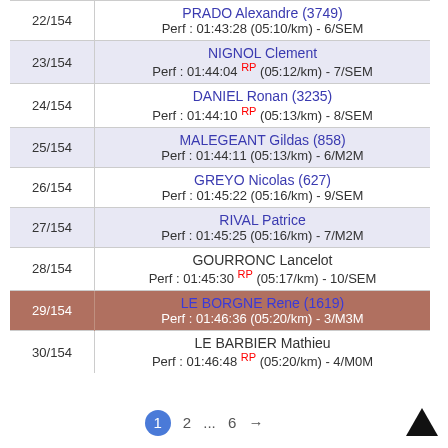| Rank | Athlete Info |
| --- | --- |
| 22/154 | PRADO Alexandre (3749)
Perf : 01:43:28 (05:10/km) - 6/SEM |
| 23/154 | NIGNOL Clement
Perf : 01:44:04 RP (05:12/km) - 7/SEM |
| 24/154 | DANIEL Ronan (3235)
Perf : 01:44:10 RP (05:13/km) - 8/SEM |
| 25/154 | MALEGEANT Gildas (858)
Perf : 01:44:11 (05:13/km) - 6/M2M |
| 26/154 | GREYO Nicolas (627)
Perf : 01:45:22 (05:16/km) - 9/SEM |
| 27/154 | RIVAL Patrice
Perf : 01:45:25 (05:16/km) - 7/M2M |
| 28/154 | GOURRONC Lancelot
Perf : 01:45:30 RP (05:17/km) - 10/SEM |
| 29/154 | LE BORGNE Rene (1619)
Perf : 01:46:36 (05:20/km) - 3/M3M |
| 30/154 | LE BARBIER Mathieu
Perf : 01:46:48 RP (05:20/km) - 4/M0M |
1 2 ... 6 →